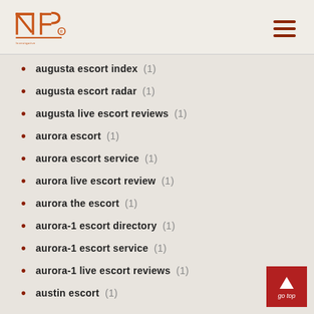INP logo and navigation
augusta escort index (1)
augusta escort radar (1)
augusta live escort reviews (1)
aurora escort (1)
aurora escort service (1)
aurora live escort review (1)
aurora the escort (1)
aurora-1 escort directory (1)
aurora-1 escort service (1)
aurora-1 live escort reviews (1)
austin escort (1)